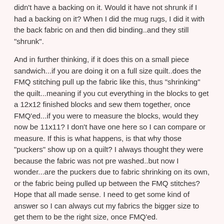didn't have a backing on it. Would it have not shrunk if I had a backing on it? When I did the mug rugs, I did it with the back fabric on and then did binding..and they still "shrunk".
And in further thinking, if it does this on a small piece sandwich...if you are doing it on a full size quilt..does the FMQ stitching pull up the fabric like this, thus "shrinking" the quilt...meaning if you cut everything in the blocks to get a 12x12 finished blocks and sew them together, once FMQ'ed...if you were to measure the blocks, would they now be 11x11? I don't have one here so I can compare or measure. If this is what happens, is that why those "puckers" show up on a quilt? I always thought they were because the fabric was not pre washed..but now I wonder...are the puckers due to fabric shrinking on its own, or the fabric being pulled up between the FMQ stitches? Hope that all made sense. I need to get some kind of answer so I can always cut my fabrics the bigger size to get them to be the right size, once FMQ'ed.
Cheri
www.fabricandmemories.blogspot.com